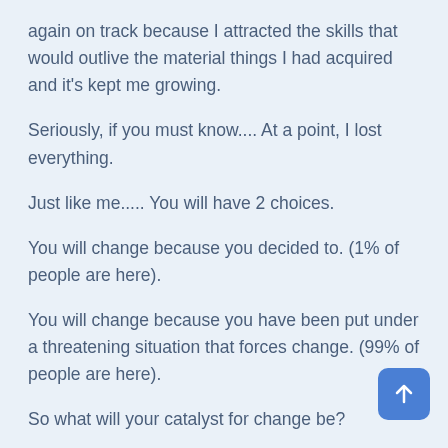again on track because I attracted the skills that would outlive the material things I had acquired and it's kept me growing.
Seriously, if you must know.... At a point, I lost everything.
Just like me..... You will have 2 choices.
You will change because you decided to. (1% of people are here).
You will change because you have been put under a threatening situation that forces change. (99% of people are here).
So what will your catalyst for change be?